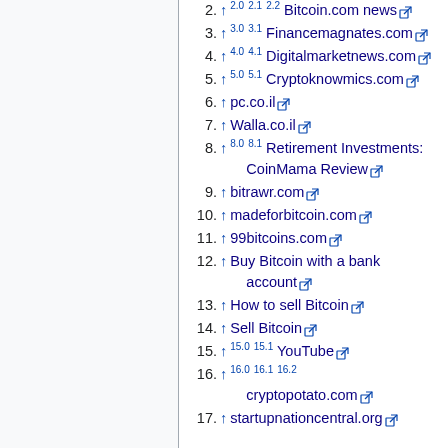2. ↑ 2.0 2.1 2.2 Bitcoin.com news
3. ↑ 3.0 3.1 Financemagnates.com
4. ↑ 4.0 4.1 Digitalmarketnews.com
5. ↑ 5.0 5.1 Cryptoknowmics.com
6. ↑ pc.co.il
7. ↑ Walla.co.il
8. ↑ 8.0 8.1 Retirement Investments: CoinMama Review
9. ↑ bitrawr.com
10. ↑ madeforbitcoin.com
11. ↑ 99bitcoins.com
12. ↑ Buy Bitcoin with a bank account
13. ↑ How to sell Bitcoin
14. ↑ Sell Bitcoin
15. ↑ 15.0 15.1 YouTube
16. ↑ 16.0 16.1 16.2 cryptopotato.com
17. ↑ startupnationcentral.org